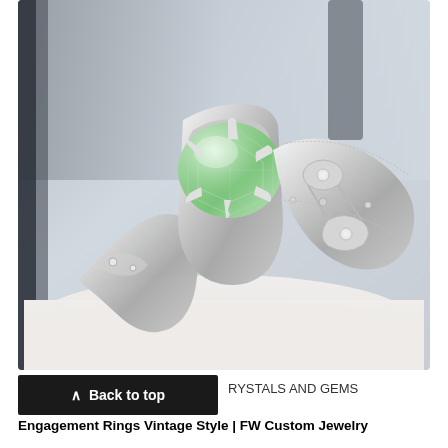[Figure (photo): A vintage-style silver engagement ring with a pale green gemstone (green amethyst/prasiolite) in a prong setting, featuring intricate filigree and milgrain detailing on the band with small accent diamonds, photographed on a white jewelry display stand]
Back to top
RYSTALS AND GEMS
Engagement Rings Vintage Style | FW Custom Jewelry